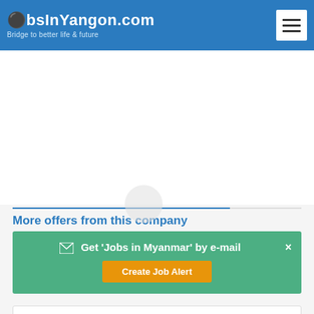JobsInYangon.com — Bridge to better life & future
[Figure (screenshot): Advertisement/empty white space area]
More offers from this company
✉ Get 'Jobs in Myanmar' by e-mail  ×  Create Job Alert
Senior Accountant (Code-41861) F  (5)
Accountancy Jobs
Yangon Region
View Job